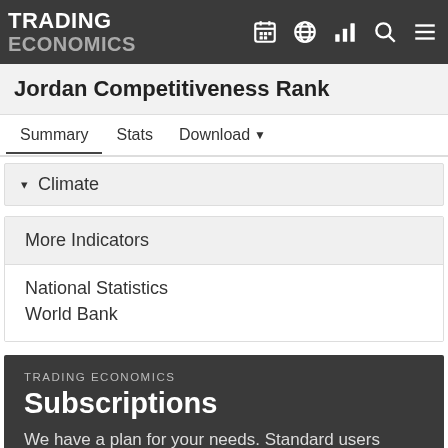TRADING ECONOMICS
Jordan Competitiveness Rank
Summary  Stats  Download
Climate
More Indicators
National Statistics
World Bank
TRADING ECONOMICS
Subscriptions
We have a plan for your needs. Standard users